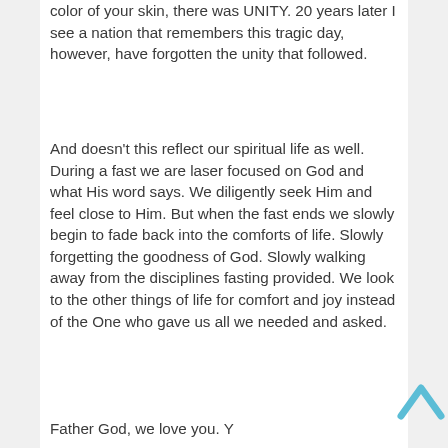color of your skin, there was UNITY. 20 years later I see a nation that remembers this tragic day, however, have forgotten the unity that followed.
And doesn't this reflect our spiritual life as well. During a fast we are laser focused on God and what His word says. We diligently seek Him and feel close to Him. But when the fast ends we slowly begin to fade back into the comforts of life. Slowly forgetting the goodness of God. Slowly walking away from the disciplines fasting provided. We look to the other things of life for comfort and joy instead of the One who gave us all we needed and asked.
Father God, we love you. Y...